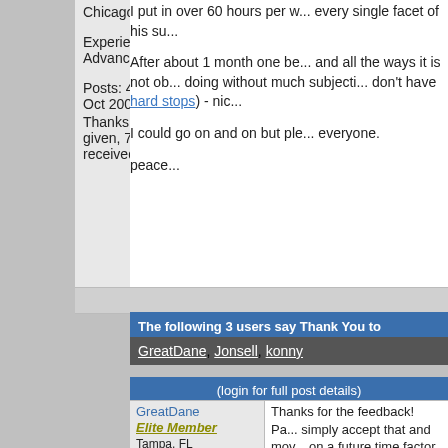Chicago, IL
Experience: Advanced
Posts: 430 since Oct 2009
Thanks: 269 given, 769 received
I put in over 60 hours per w... every single facet of his su...
After about 1 month one be... and all the ways it is not ob... doing without much subjecti... don't have hard stops) - nic...
I could go on and on but ple... everyone.
peace...
The following 3 users say Thank You to researcher247 for this po...
GreatDane, Jonsell, konny
(login for full post details)
GreatDane
Elite Member
Tampa, FL
Thanks for the feedback! Pa... simply accept that and mov... on a future time factor, whi... Principle, is a price based o...